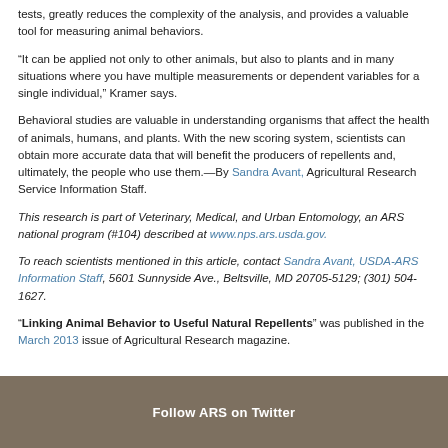tests, greatly reduces the complexity of the analysis, and provides a valuable tool for measuring animal behaviors.
“It can be applied not only to other animals, but also to plants and in many situations where you have multiple measurements or dependent variables for a single individual,” Kramer says.
Behavioral studies are valuable in understanding organisms that affect the health of animals, humans, and plants. With the new scoring system, scientists can obtain more accurate data that will benefit the producers of repellents and, ultimately, the people who use them.—By Sandra Avant, Agricultural Research Service Information Staff.
This research is part of Veterinary, Medical, and Urban Entomology, an ARS national program (#104) described at www.nps.ars.usda.gov.
To reach scientists mentioned in this article, contact Sandra Avant, USDA-ARS Information Staff, 5601 Sunnyside Ave., Beltsville, MD 20705-5129; (301) 504-1627.
“Linking Animal Behavior to Useful Natural Repellents” was published in the March 2013 issue of Agricultural Research magazine.
Follow ARS on Twitter